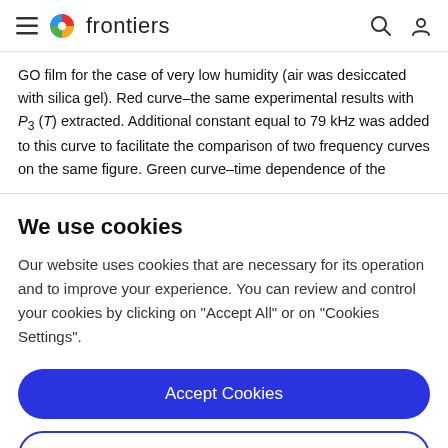frontiers
GO film for the case of very low humidity (air was desiccated with silica gel). Red curve–the same experimental results with P3 (T) extracted. Additional constant equal to 79 kHz was added to this curve to facilitate the comparison of two frequency curves on the same figure. Green curve–time dependence of the
We use cookies
Our website uses cookies that are necessary for its operation and to improve your experience. You can review and control your cookies by clicking on "Accept All" or on "Cookies Settings".
Accept Cookies
Cookies Settings